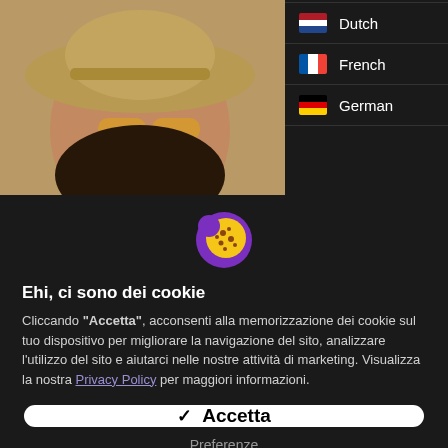[Figure (screenshot): Top portion showing a woman with a hat and glasses on a teal background (left), and a dark language selection panel listing Dutch, French, German (right).]
[Figure (illustration): Cookie icon: a yellow cookie with chocolate chips inside a purple circle.]
Ehi, ci sono dei cookie
Cliccando "Accetta", acconsenti alla memorizzazione dei cookie sul tuo dispositivo per migliorare la navigazione del sito, analizzare l'utilizzo del sito e aiutarci nelle nostre attività di marketing. Visualizza la nostra Privacy Policy per maggiori informazioni.
✓  Accetta
Preferenze